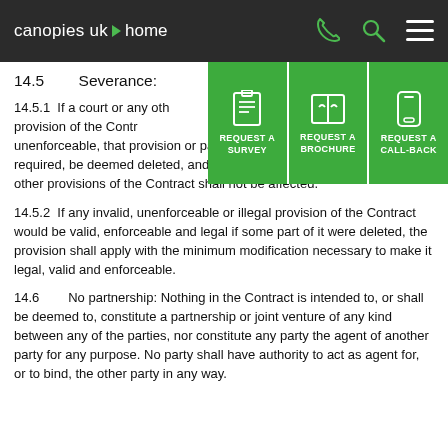canopies uk home
[Figure (infographic): Green overlay buttons: REQUEST A SURVEY, REQUEST A BROCHURE, REQUEST A CALL-BACK with icons]
14.5        Severance:
14.5.1  If a court or any other competent authority finds that any provision of the Contract (or part of any provision) is invalid, illegal or unenforceable, that provision or part-provision shall, to the extent required, be deemed deleted, and the validity and enforceability of the other provisions of the Contract shall not be affected.
14.5.2  If any invalid, unenforceable or illegal provision of the Contract would be valid, enforceable and legal if some part of it were deleted, the provision shall apply with the minimum modification necessary to make it legal, valid and enforceable.
14.6        No partnership: Nothing in the Contract is intended to, or shall be deemed to, constitute a partnership or joint venture of any kind between any of the parties, nor constitute any party the agent of another party for any purpose. No party shall have authority to act as agent for, or to bind, the other party in any way.